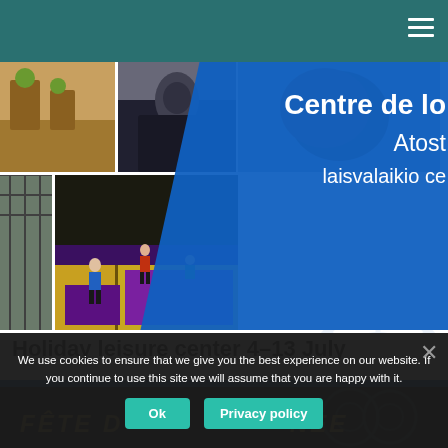[Figure (photo): Website screenshot showing a holiday leisure center page. Top area has a teal/dark green header with hamburger menu. Below is a hero banner with photo collage on left (outdoor activities, food, trampoline park with children) and blue diagonal overlay on right with text 'Centre de lo / Atost / laisvalaikio ce' in white bold font.]
Holiday leisure center 4–13 July
[Figure (photo): Bottom dark section with 'FÊTE D... NÉE' text partially visible in gold/yellow italic letters, with decorative watermark pattern.]
We use cookies to ensure that we give you the best experience on our website. If you continue to use this site we will assume that you are happy with it.
Ok
Privacy policy